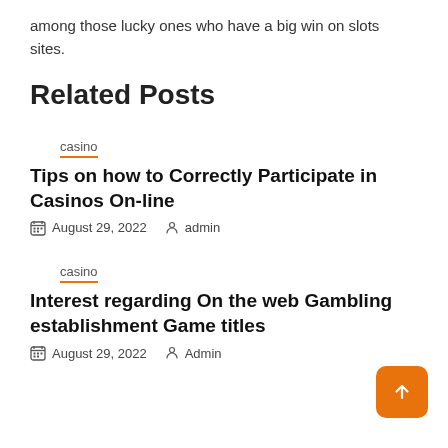among those lucky ones who have a big win on slots sites.
Related Posts
casino
Tips on how to Correctly Participate in Casinos On-line
August 29, 2022   admin
casino
Interest regarding On the web Gambling establishment Game titles
August 29, 2022   Admin